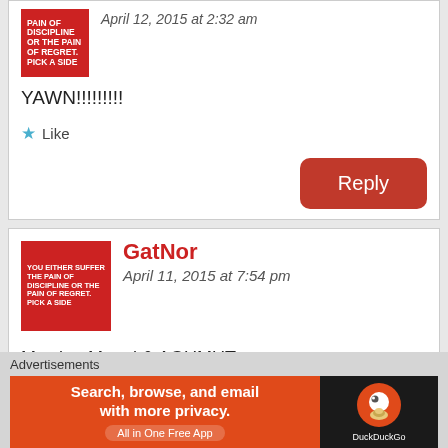April 12, 2015 at 2:32 am
YAWN!!!!!!!!!
Like
Reply
GatNor
April 11, 2015 at 7:54 pm
Mawien Magol & AGUMUT,
I am quoting you here Maggot..
Advertisements
[Figure (screenshot): DuckDuckGo advertisement banner: 'Search, browse, and email with more privacy. All in One Free App' with DuckDuckGo logo on dark background]